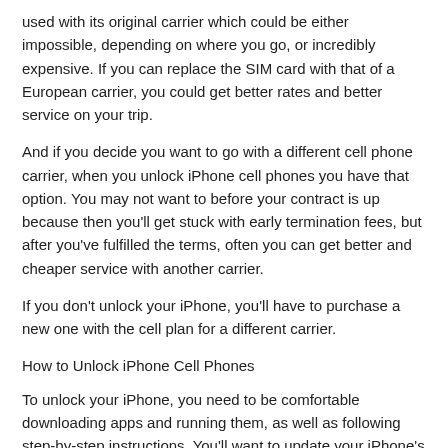used with its original carrier which could be either impossible, depending on where you go, or incredibly expensive. If you can replace the SIM card with that of a European carrier, you could get better rates and better service on your trip.
And if you decide you want to go with a different cell phone carrier, when you unlock iPhone cell phones you have that option. You may not want to before your contract is up because then you'll get stuck with early termination fees, but after you've fulfilled the terms, often you can get better and cheaper service with another carrier.
If you don't unlock your iPhone, you'll have to purchase a new one with the cell plan for a different carrier.
How to Unlock iPhone Cell Phones
To unlock your iPhone, you need to be comfortable downloading apps and running them, as well as following step-by-step instructions. You'll want to update your iPhone's firmware first to be sure everything's in order. Then you'll need to download one of the programs that lets you hack into your phone and unlock it. There's software available that costs from $50 to $100 that will help you do this, but you can also try open source, free software like AppTapp, that lets you download 3rd party software. A program called quickpawn is also available to help you do this.